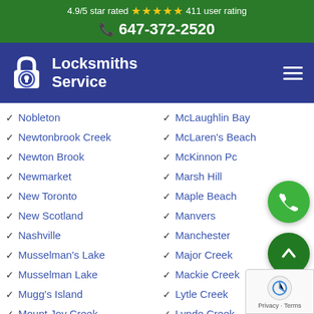4.9/5 star rated ★★★★★ 411 user rating
📞 647-372-2520
[Figure (logo): Locksmiths Service logo with padlock icon on dark blue navigation bar]
Nobleton
Newtonbrook Creek
Newton Brook
Newmarket
New Toronto
New Scotland
Nashville
Musselman's Lake
Musselman Lake
Mugg's Island
Mount Joy Creek
McLaughlin Bay
McLaren's Beach
McKinnon Pc
Marsh Hill
Maple Beach
Manvers
Manchester
Major Creek
Mackie Creek
Lytle Creek
Lynde Creek